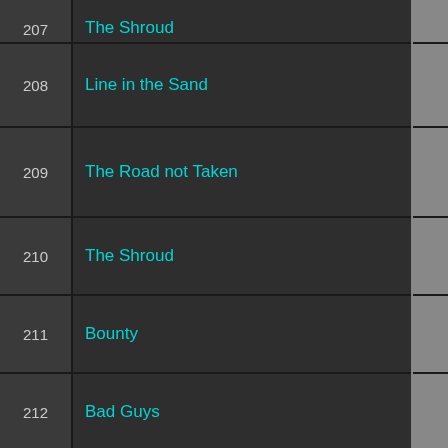| # | Title |  |  | Votes |
| --- | --- | --- | --- | --- |
| 207 | The Shroud |  |  | Insufficient Votes |
| 208 | Line in the Sand |  |  | Insufficient Votes |
| 209 | The Road not Taken |  |  | Insufficient Votes |
| 210 | The Shroud |  |  | Insufficient Votes |
| 211 | Bounty |  |  | Insufficient Votes |
| 212 | Bad Guys |  |  | Insufficient Votes |
| 213 | Talion |  |  | Insufficient Votes |
| 214 | Family Ties |  |  | Insufficient Votes |
| 215 | Dominion |  |  | Insufficient Votes |
| 216 | Unending |  |  | Insufficient Votes |